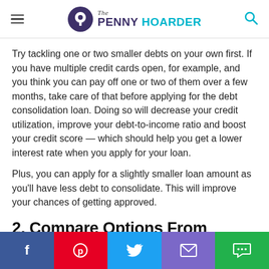The PENNY HOARDER
Try tackling one or two smaller debts on your own first. If you have multiple credit cards open, for example, and you think you can pay off one or two of them over a few months, take care of that before applying for the debt consolidation loan. Doing so will decrease your credit utilization, improve your debt-to-income ratio and boost your credit score — which should help you get a lower interest rate when you apply for your loan.
Plus, you can apply for a slightly smaller loan amount as you'll have less debt to consolidate. This will improve your chances of getting approved.
2. Compare Options From Multiple
[Figure (other): Social sharing bar with Facebook, Pinterest, Twitter, Email, and Chat buttons]